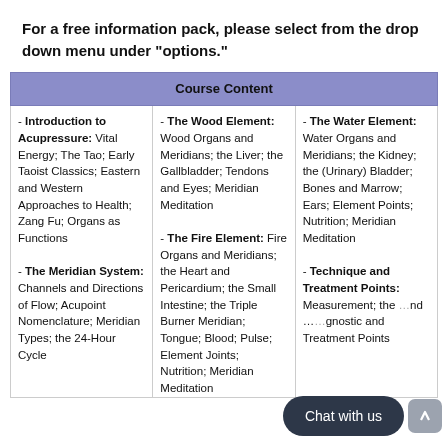For a free information pack, please select from the drop down menu under "options."
| Course Content |
| --- |
| - Introduction to Acupressure: Vital Energy; The Tao; Early Taoist Classics; Eastern and Western Approaches to Health; Zang Fu; Organs as Functions
- The Meridian System: Channels and Directions of Flow; Acupoint Nomenclature; Meridian Types; the 24-Hour Cycle | - The Wood Element: Wood Organs and Meridians; the Liver; the Gallbladder; Tendons and Eyes; Meridian Meditation
- The Fire Element: Fire Organs and Meridians; the Heart and Pericardium; the Small Intestine; the Triple Burner Meridian; Tongue; Blood; Pulse; Element Joints; Nutrition; Meridian Meditation | - The Water Element: Water Organs and Meridians; the Kidney; the (Urinary) Bladder; Bones and Marrow; Ears; Element Points; Nutrition; Meridian Meditation
- Technique and Treatment Points: Measurement; the ... diagnostic and Treatment Points |